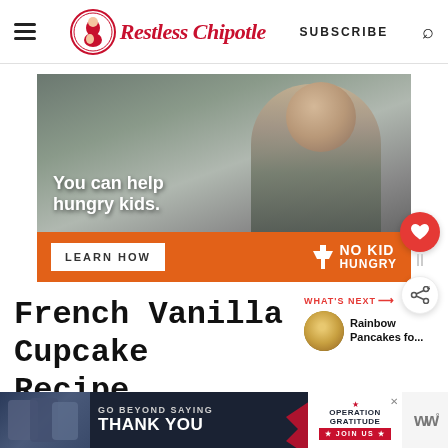Restless Chipotle | SUBSCRIBE
[Figure (photo): No Kid Hungry advertisement featuring a young Asian boy eating. Orange bar with 'LEARN HOW' button and 'NO KID HUNGRY' logo. Text overlay: 'You can help hungry kids.']
French Vanilla Cupcake Recipe
[Figure (photo): What's Next callout showing a circular thumbnail of Rainbow Pancakes and label 'WHAT'S NEXT → Rainbow Pancakes fo...']
[Figure (photo): Bottom advertisement banner: Operation Gratitude. Text reads 'GO BEYOND SAYING THANK YOU' with JOIN US button. WW logo on right side.]